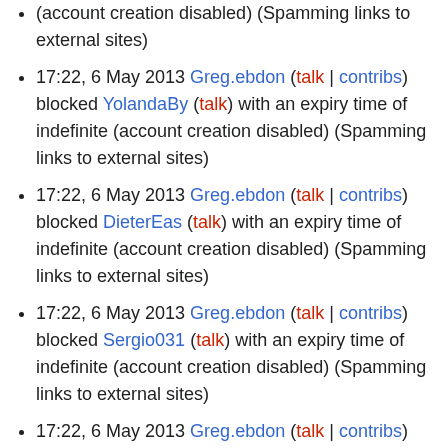(account creation disabled) (Spamming links to external sites)
17:22, 6 May 2013 Greg.ebdon (talk | contribs) blocked YolandaBy (talk) with an expiry time of indefinite (account creation disabled) (Spamming links to external sites)
17:22, 6 May 2013 Greg.ebdon (talk | contribs) blocked DieterEas (talk) with an expiry time of indefinite (account creation disabled) (Spamming links to external sites)
17:22, 6 May 2013 Greg.ebdon (talk | contribs) blocked Sergio031 (talk) with an expiry time of indefinite (account creation disabled) (Spamming links to external sites)
17:22, 6 May 2013 Greg.ebdon (talk | contribs) blocked TommyFerr (talk) with an expiry time of indefinite (account creation disabled) (Spamming links to external sites)